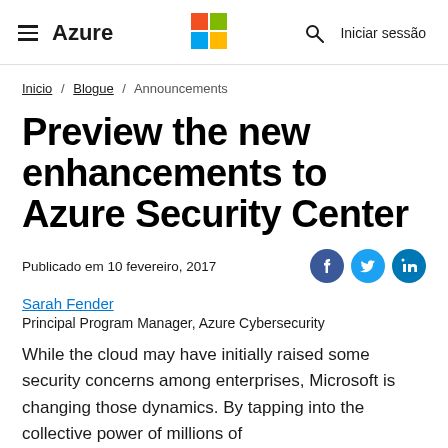≡ Azure | Microsoft Logo | 🔍 | Iniciar sessão
Inicio / Blogue / Announcements
Preview the new enhancements to Azure Security Center
Publicado em 10 fevereiro, 2017
Sarah Fender
Principal Program Manager, Azure Cybersecurity
While the cloud may have initially raised some security concerns among enterprises, Microsoft is changing those dynamics. By tapping into the collective power of millions of